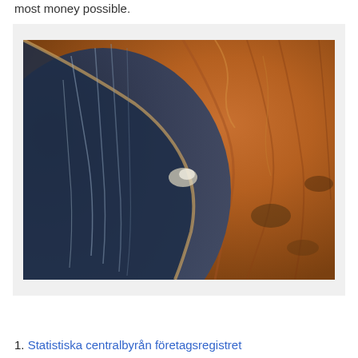most money possible.
[Figure (photo): Aerial or satellite photograph of a Martian or desert crater, showing dark shadowed interior on the left with streaks/gullies on the crater walls, and orange-brown dusty terrain on the right side of the crater rim.]
1. Statistiska centralbyrån företagsregistret